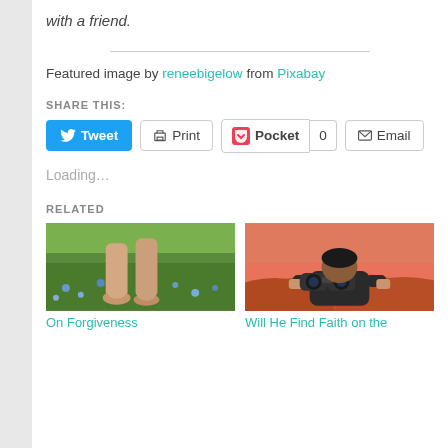with a friend.
Featured image by reneebigelow from Pixabay
SHARE THIS:
Tweet | Print | Pocket 0 | Email
Loading...
RELATED
[Figure (photo): Bare feet on green grass with blue flowers — related article thumbnail for 'On Forgiveness']
On Forgiveness
[Figure (photo): Person looking through binoculars against orange/red desert landscape — related article thumbnail for 'Will He Find Faith on the']
Will He Find Faith on the